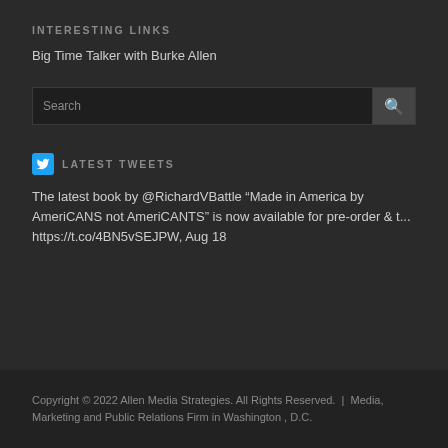INTERESTING LINKS
Big Time Talker with Burke Allen
Search
LATEST TWEETS
The latest book by @RichardVBattle “Made in America by AmeriCANS not AmeriCANTS” is now available for pre-order & t... https://t.co/4BN5vSEJPW, Aug 18
Copyright © 2022 Allen Media Strategies. All Rights Reserved. | Media, Marketing and Public Relations Firm in Washington , D.C.